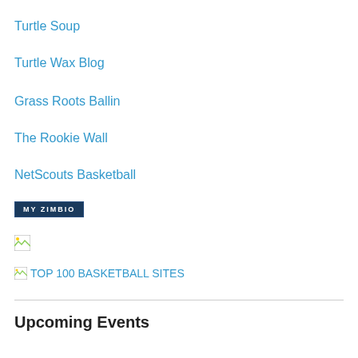Turtle Soup
Turtle Wax Blog
Grass Roots Ballin
The Rookie Wall
NetScouts Basketball
[Figure (logo): MY ZIMBIO badge — dark navy rectangular badge with white uppercase text 'MY ZIMBIO']
[Figure (photo): Broken image placeholder (small icon)]
[Figure (other): Broken image placeholder followed by text link: TOP 100 BASKETBALL SITES]
Upcoming Events